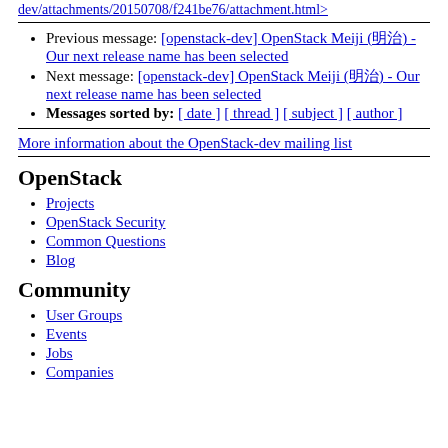dev/attachments/20150708/f241be76/attachment.html>
Previous message: [openstack-dev] OpenStack Meiji (明治) - Our next release name has been selected
Next message: [openstack-dev] OpenStack Meiji (明治) - Our next release name has been selected
Messages sorted by: [ date ] [ thread ] [ subject ] [ author ]
More information about the OpenStack-dev mailing list
OpenStack
Projects
OpenStack Security
Common Questions
Blog
Community
User Groups
Events
Jobs
Companies